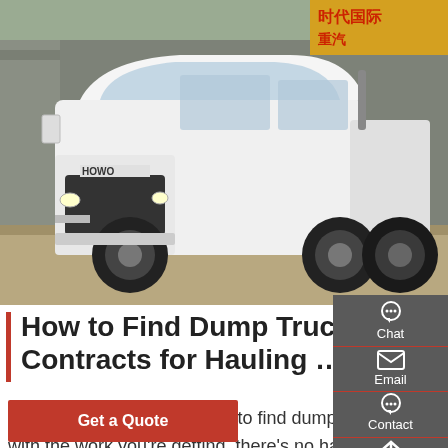[Figure (photo): White HOWO dump truck parked in front of a building with Chinese signage. The truck is a large semi-truck/tractor unit.]
How to Find Dump Truck Work Contracts for Hauling …
Liming · If you're struggling to find dump truck work, the TRUX platform can help. And if you're happy with the work you're getting, there's no harm in finding out if you're being paid fair market value.. We built a dump truck app that gives you instant access to a wide range of jobs located in your area & tools to manage your entire fleet of dump trucks.
Get a Quote